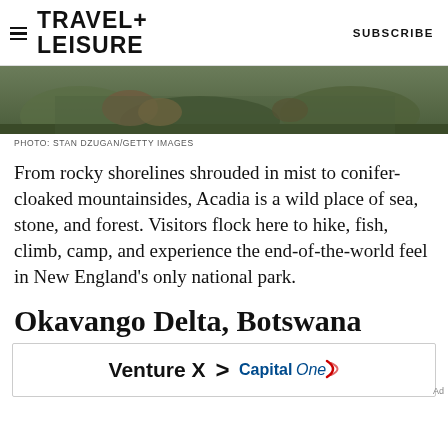TRAVEL+ LEISURE   SUBSCRIBE
[Figure (photo): Partial wildlife/nature hero image showing what appears to be animals among rocks and green vegetation]
PHOTO: STAN DZUGAN/GETTY IMAGES
From rocky shorelines shrouded in mist to conifer-cloaked mountainsides, Acadia is a wild place of sea, stone, and forest. Visitors flock here to hike, fish, climb, camp, and experience the end-of-the-world feel in New England's only national park.
Okavango Delta, Botswana
[Figure (other): Capital One Venture X advertisement banner]